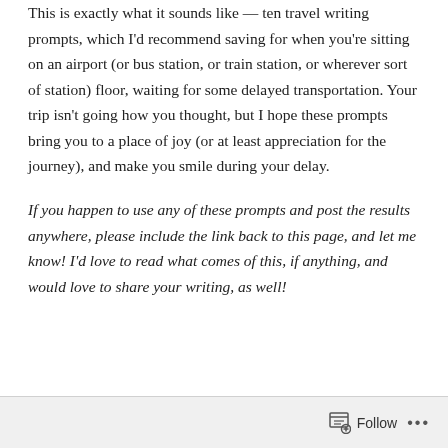This is exactly what it sounds like — ten travel writing prompts, which I'd recommend saving for when you're sitting on an airport (or bus station, or train station, or wherever sort of station) floor, waiting for some delayed transportation. Your trip isn't going how you thought, but I hope these prompts bring you to a place of joy (or at least appreciation for the journey), and make you smile during your delay.
If you happen to use any of these prompts and post the results anywhere, please include the link back to this page, and let me know! I'd love to read what comes of this, if anything, and would love to share your writing, as well!
Follow ...